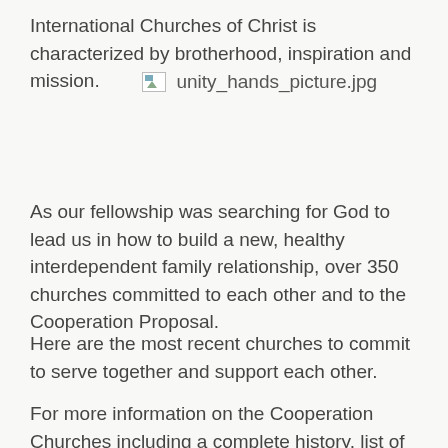International Churches of Christ is characterized by brotherhood, inspiration and mission. [image: unity_hands_picture.jpg]
As our fellowship was searching for God to lead us in how to build a new, healthy interdependent family relationship, over 350 churches committed to each other and to the Cooperation Proposal.
Here are the most recent churches to commit to serve together and support each other.
For more information on the Cooperation Churches including a complete history, list of